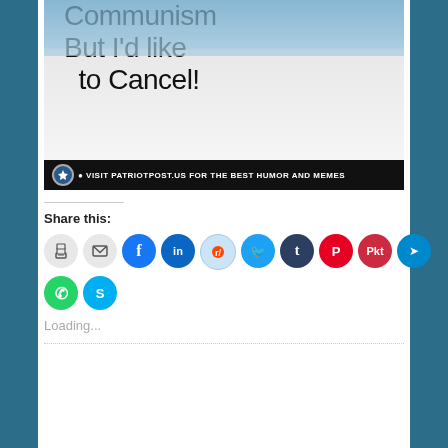[Figure (photo): Photo of a handwritten sign reading 'Communism But I'd like to Cancel!' with a snowy background. Below is a black banner with a star badge and text: VISIT PATRIOTPOST.US FOR THE BEST HUMOR AND MEMES]
Share this:
Loading...